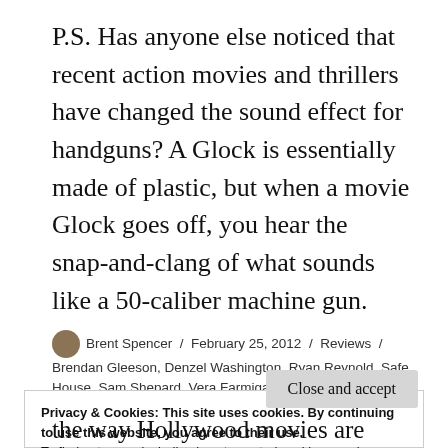P.S. Has anyone else noticed that recent action movies and thrillers have changed the sound effect for handguns? A Glock is essentially made of plastic, but when a movie Glock goes off, you hear the snap-and-clang of what sounds like a 50-caliber machine gun.
Brent Spencer / February 25, 2012 / Reviews / Brendan Gleeson, Denzel Washington, Ryan Reynold, Safe House, Sam Shepard, Vera Farmiga / 1 Comment
Privacy & Cookies: This site uses cookies. By continuing to use this website, you agree to their use.
To find out more, including how to control cookies, see here:
Cookie Policy
the way Hollywood movies are given the green